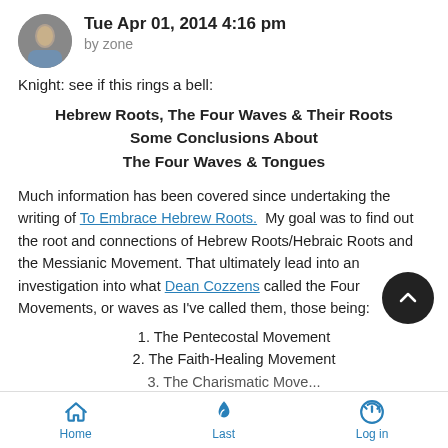Tue Apr 01, 2014 4:16 pm
by zone
Knight: see if this rings a bell:
Hebrew Roots, The Four Waves & Their Roots
Some Conclusions About
The Four Waves & Tongues
Much information has been covered since undertaking the writing of To Embrace Hebrew Roots. My goal was to find out the root and connections of Hebrew Roots/Hebraic Roots and the Messianic Movement. That ultimately lead into an investigation into what Dean Cozzens called the Four Movements, or waves as I've called them, those being:
1. The Pentecostal Movement
2. The Faith-Healing Movement
3. The Charismatic Movement
Home | Last | Log in